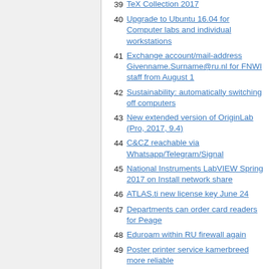39 TeX Collection 2017
40 Upgrade to Ubuntu 16.04 for Computer labs and individual workstations
41 Exchange account/mail-address Givenname.Surname@ru.nl for FNWI staff from August 1
42 Sustainability: automatically switching off computers
43 New extended version of OriginLab (Pro, 2017, 9.4)
44 C&CZ reachable via Whatsapp/Telegram/Signal
45 National Instruments LabVIEW Spring 2017 on Install network share
46 ATLAS.ti new license key June 24
47 Departments can order card readers for Peage
48 Eduroam within RU firewall again
49 Poster printer service kamerbreed more reliable